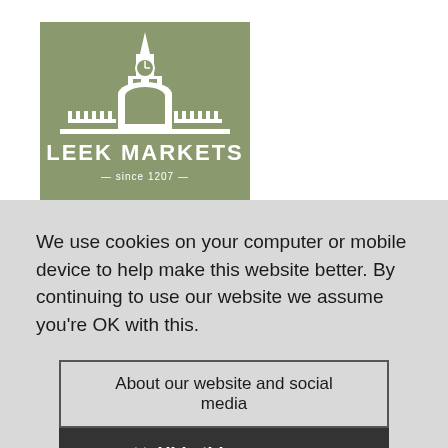[Figure (logo): Leek Markets logo: olive/sage green square background with white silhouette of a clock tower building. Text reads 'LEEK MARKETS' in large white letters and '— since 1207 —' below in smaller white text.]
Celebrating 800 years of Leek
We use cookies on your computer or mobile device to help make this website better. By continuing to use our website we assume you're OK with this.
About our website and social media
✕ Hide this message